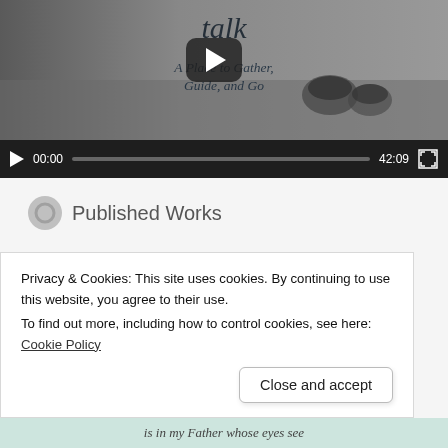[Figure (screenshot): Embedded video player showing a blog/website video titled 'talk – A Place to Gather, Guide, and Go' with a grayscale background image of coffee cups on a wooden table. Video controls show 00:00 current time and 42:09 total duration.]
Published Works
[Figure (illustration): Watercolor illustration of teal/blue-green leaves on branches against a white background, partially visible book cover image.]
Privacy & Cookies: This site uses cookies. By continuing to use this website, you agree to their use.
To find out more, including how to control cookies, see here: Cookie Policy
Close and accept
is in my Father whose eyes see